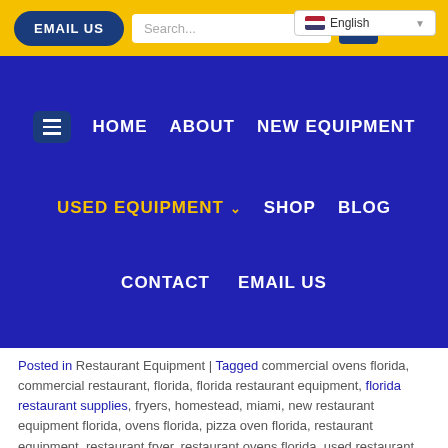EMAIL US | Search... | English
HOME  ABOUT  NEW EQUIPMENT  USED EQUIPMENT  SHOP  BLOG  CONTACT  EMAIL US
Posted in Restaurant Equipment | Tagged commercial ovens florida, commercial restaurant, florida, florida restaurant equipment, florida restaurant supplies, fryers, homestead, miami, new restaurant equipment florida, ovens florida, pizza oven florida, restaurant equipment, restaurant fryer, restaurant ovens florida, used restaurant equipment
RESTAURANT EQUIPMENT, RESTAURANT EQUIPMENT BUYERS GUIDE
Choosing the right size Commercial Fryer Florida